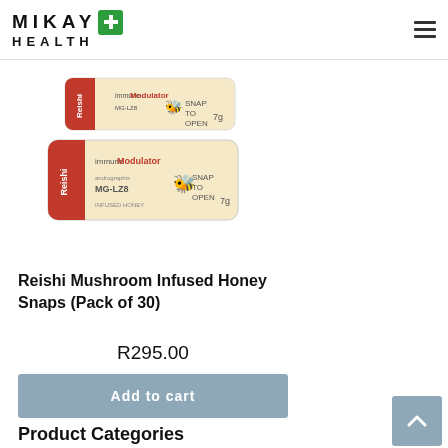[Figure (logo): Mikay Health logo with green plus sign]
[Figure (photo): Two Reishi Mushroom Infused Honey Snaps product packages shown stacked]
Reishi Mushroom Infused Honey Snaps (Pack of 30)
R295.00
Add to cart
Product Categories